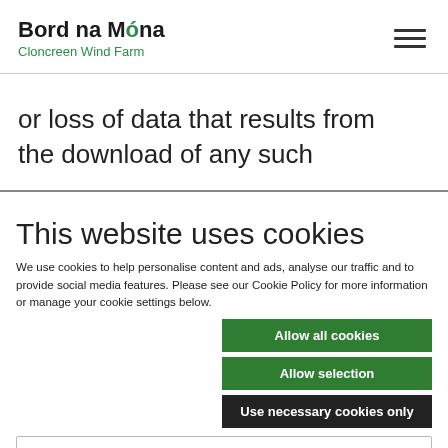[Figure (logo): Bord na Móna Cloncreen Wind Farm logo with hamburger menu icon]
or loss of data that results from the download of any such
This website uses cookies
We use cookies to help personalise content and ads, analyse our traffic and to provide social media features. Please see our Cookie Policy for more information or manage your cookie settings below.
Allow all cookies
Allow selection
Use necessary cookies only
Necessary  Preferences  Statistics  Marketing  Show details